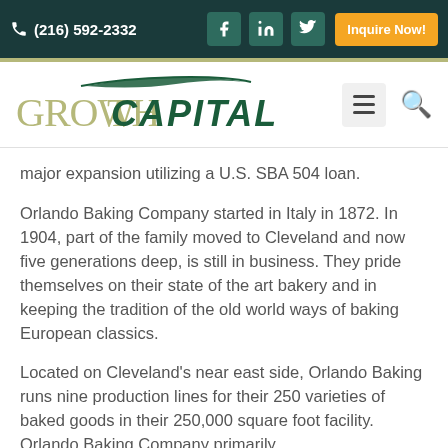(216) 592-2332 | Inquire Now!
[Figure (logo): Growth Capital logo with swoosh graphic]
major expansion utilizing a U.S. SBA 504 loan.
Orlando Baking Company started in Italy in 1872. In 1904, part of the family moved to Cleveland and now five generations deep, is still in business. They pride themselves on their state of the art bakery and in keeping the tradition of the old world ways of baking European classics.
Located on Cleveland's near east side, Orlando Baking runs nine production lines for their 250 varieties of baked goods in their 250,000 square foot facility. Orlando Baking Company primarily